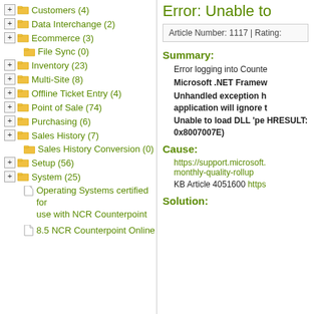Customers (4)
Data Interchange (2)
Ecommerce (3)
File Sync (0)
Inventory (23)
Multi-Site (8)
Offline Ticket Entry (4)
Point of Sale (74)
Purchasing (6)
Sales History (7)
Sales History Conversion (0)
Setup (56)
System (25)
Operating Systems certified for use with NCR Counterpoint
8.5 NCR Counterpoint Online
Error: Unable to
Article Number: 1117 | Rating:
Summary:
Error logging into Counte
Microsoft .NET Framew
Unhandled exception h application will ignore t
Unable to load DLL 'pe HRESULT: 0x8007007E)
Cause:
https://support.microsoft. monthly-quality-rollup
KB Article 4051600 https
Solution: